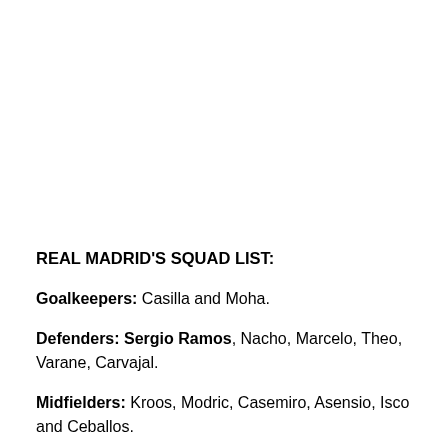REAL MADRID'S SQUAD LIST:
Goalkeepers: Casilla and Moha.
Defenders: Sergio Ramos, Nacho, Marcelo, Theo, Varane, Carvajal.
Midfielders: Kroos, Modric, Casemiro, Asensio, Isco and Ceballos.